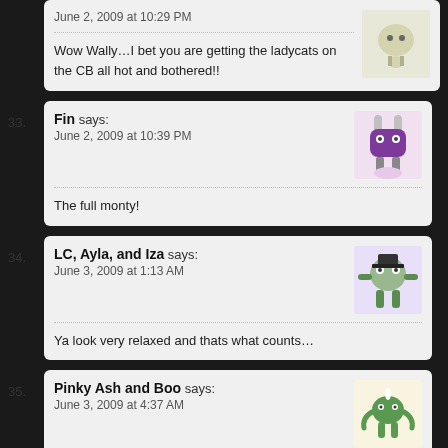June 2, 2009 at 10:29 PM
Wow Wally…I bet you are getting the ladycats on the CB all hot and bothered!!
33. Fin says: June 2, 2009 at 10:39 PM — The full monty!
34. LC, Ayla, and Iza says: June 3, 2009 at 1:13 AM — Ya look very relaxed and thats what counts…
35. Pinky Ash and Boo says: June 3, 2009 at 4:37 AM — We think being shamless in the name of cuteness is ok